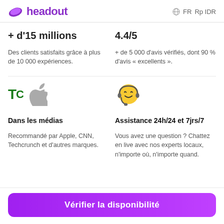headout   FR  Rp IDR
+ d'15 millions
Des clients satisfaits grâce à plus de 10 000 expériences.
4.4/5
+ de 5 000 d'avis vérifiés, dont 90 % d'avis « excellents ».
[Figure (logo): TechCrunch TC logo in green and Apple logo in grey]
[Figure (illustration): Yellow emoji face with headset for customer support]
Dans les médias
Recommandé par Apple, CNN, Techcrunch et d'autres marques.
Assistance 24h/24 et 7jrs/7
Vous avez une question ? Chattez en live avec nos experts locaux, n'importe où, n'importe quand.
Vérifier la disponibilité